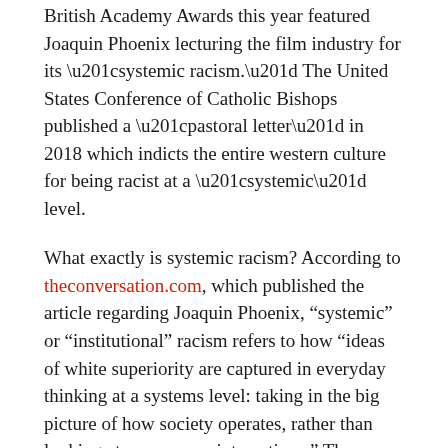British Academy Awards this year featured Joaquin Phoenix lecturing the film industry for its “systemic racism.” The United States Conference of Catholic Bishops published a “pastoral letter” in 2018 which indicts the entire western culture for being racist at a “systemic” level.
What exactly is systemic racism? According to theconversation.com, which published the article regarding Joaquin Phoenix, “systemic” or “institutional” racism refers to how “ideas of white superiority are captured in everyday thinking at a systems level: taking in the big picture of how society operates, rather than looking at one-on-one interactions.” These “systems can include laws and regulations, but also unquestioned social systems,” such as education and hiring practices.
For clarification, this crime is not, in official politically correct thought, imbedded within other races of people—